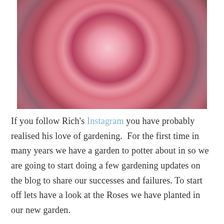[Figure (photo): Close-up photograph of a pale pink English rose in full bloom with densely layered petals, surrounded by dark green leaves in the background.]
If you follow Rich's Instagram you have probably realised his love of gardening.  For the first time in many years we have a garden to potter about in so we are going to start doing a few gardening updates on the blog to share our successes and failures. To start off lets have a look at the Roses we have planted in our new garden.